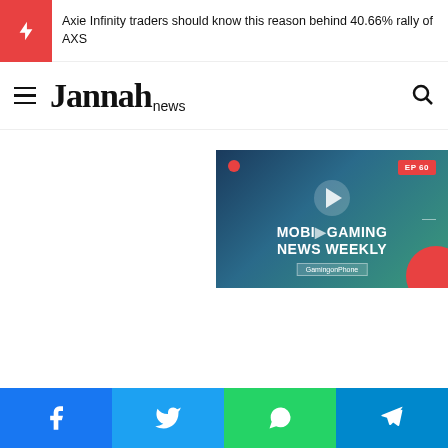Axie Infinity traders should know this reason behind 40.66% rally of AXS
[Figure (logo): Jannah News logo with hamburger menu and search icon]
[Figure (screenshot): Mobile Gaming News Weekly EP 60 video thumbnail with play button, red recording dot, EP 60 badge, and GamingonPhone watermark]
[Figure (other): Social share bar with Facebook, Twitter, WhatsApp, and Telegram buttons]